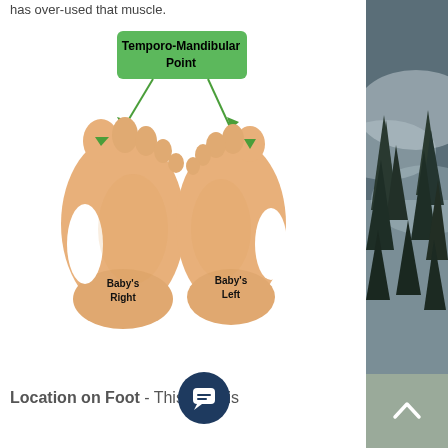has over-used that muscle.
[Figure (illustration): Illustration of two baby feet (soles facing viewer) labeled 'Baby's Right' and 'Baby's Left'. A green callout box labeled 'Temporo-Mandibular Point' has arrows pointing to the big toe area of each foot.]
Location on Foot - This point is